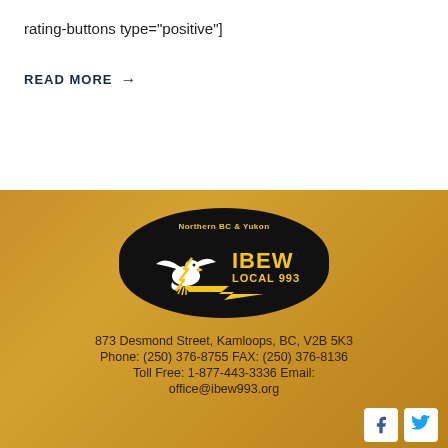rating-buttons type="positive"]
READ MORE →
[Figure (logo): IBEW Local 993 Northern BC & Yukon oval logo with eagle and lightning bolt on black background]
873 Desmond Street, Kamloops, BC, V2B 5K3
Phone: (250) 376-8755 FAX: (250) 376-8136
Toll Free: 1-877-443-3336 Email:
office@ibew993.org